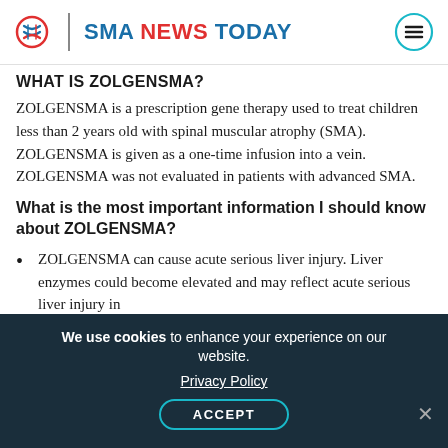SMA NEWS TODAY
What is ZOLGENSMA?
ZOLGENSMA is a prescription gene therapy used to treat children less than 2 years old with spinal muscular atrophy (SMA). ZOLGENSMA is given as a one-time infusion into a vein. ZOLGENSMA was not evaluated in patients with advanced SMA.
What is the most important information I should know about ZOLGENSMA?
ZOLGENSMA can cause acute serious liver injury. Liver enzymes could become elevated and may reflect acute serious liver injury in
We use cookies to enhance your experience on our website. Privacy Policy ACCEPT